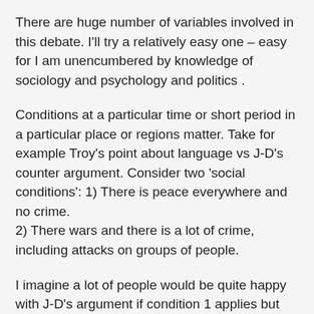There are huge number of variables involved in this debate. I'll try a relatively easy one – easy for I am unencumbered by knowledge of sociology and psychology and politics .
Conditions at a particular time or short period in a particular place or regions matter. Take for example Troy's point about language vs J-D's counter argument. Consider two 'social conditions': 1) There is peace everywhere and no crime.
2) There wars and there is a lot of crime, including attacks on groups of people.
I imagine a lot of people would be quite happy with J-D's argument if condition 1 applies but would agree with Troy's point if condition 2 applies. Why? My intuition is that not understanding the language spoken by people around an individual is